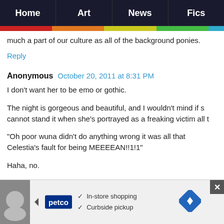Home | Art | News | Fics
much a part of our culture as all of the background ponies.
Reply
Anonymous  October 20, 2011 at 8:31 PM
I don't want her to be emo or gothic.
The night is gorgeous and beautiful, and I wouldn't mind if s cannot stand it when she's portrayed as a freaking victim all t
"Oh poor wuna didn't do anything wrong it was all that Celestia's fault for being MEEEEAN!!1!1"
Haha, no.
Misunderstood, maybe feeling guilty and determined to redee a sense of humor and grace, but everything else I mentioned
Reply
[Figure (screenshot): Petco advertisement banner with logo, in-store shopping and curbside pickup checkmarks, and a blue diamond delivery icon]